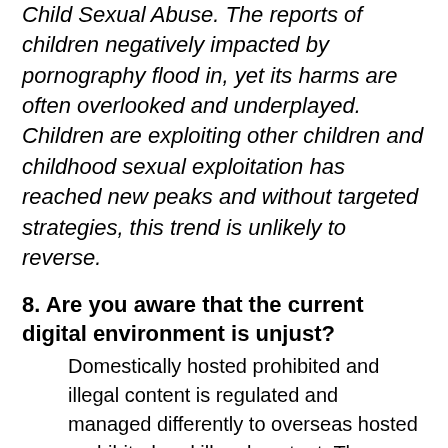Child Sexual Abuse. The reports of children negatively impacted by pornography flood in, yet its harms are often overlooked and underplayed. Children are exploiting other children and childhood sexual exploitation has reached new peaks and without targeted strategies, this trend is unlikely to reverse.
8. Are you aware that the current digital environment is unjust?
Domestically hosted prohibited and illegal content is regulated and managed differently to overseas hosted prohibited and illegal content. The diagram at the top of this page shows that prohibited content hosted overseas is easily accessible by